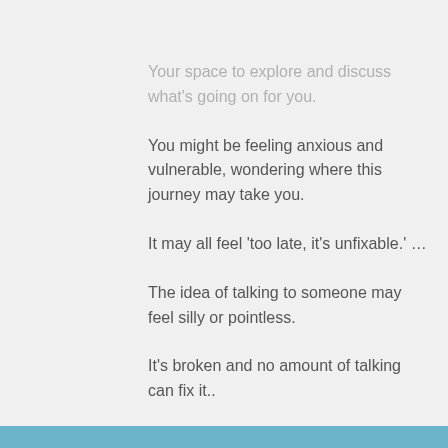Your space to explore and discuss what's going on for you.
You might be feeling anxious and vulnerable, wondering where this journey may take you.
It may all feel 'too late, it's unfixable.' ...
The idea of talking to someone may feel silly or pointless.
It's broken and no amount of talking can fix it..